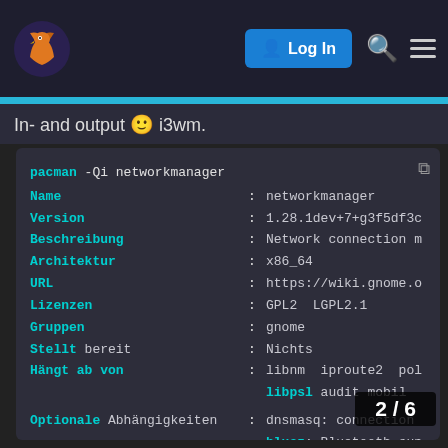Navigation bar with logo, Log In button, search and menu icons
In- and output 🙂 i3wm.
[Figure (screenshot): Terminal output of 'pacman -Qi networkmanager' showing package info: Name: networkmanager, Version: 1.28.1dev+7+g3f5df3c, Beschreibung: Network connection m, Architektur: x86_64, URL: https://wiki.gnome.o, Lizenzen: GPL2 LGPL2.1, Gruppen: gnome, Stellt bereit: Nichts, Hängt ab von: libnm iproute2 pol libpsl audit mobil, Optionale Abhängigkeiten: dnsmasq: connection, bluez: Bluetooth sup, ppp: dialup connecti, modemmanager: cellu, iwd, dhc]
2 / 6